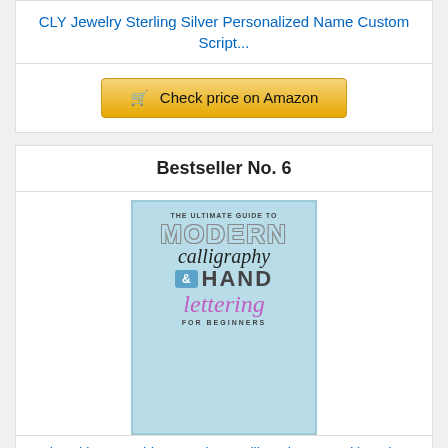CLY Jewelry Sterling Silver Personalized Name Custom Script...
Check price on Amazon
Bestseller No. 6
[Figure (photo): Book cover of 'The Ultimate Guide to Modern Calligraphy & Hand Lettering for Beginners' with light blue background, stylized typography]
The Ultimate Guide to Modern Calligraphy & Hand lettering f...